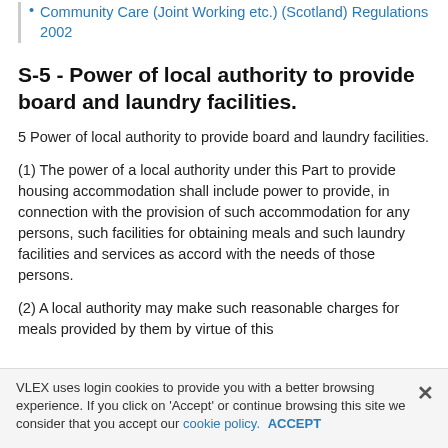Community Care (Joint Working etc.) (Scotland) Regulations 2002
S-5 - Power of local authority to provide board and laundry facilities.
5 Power of local authority to provide board and laundry facilities.
(1) The power of a local authority under this Part to provide housing accommodation shall include power to provide, in connection with the provision of such accommodation for any persons, such facilities for obtaining meals and such laundry facilities and services as accord with the needs of those persons.
(2) A local authority may make such reasonable charges for meals provided by them by virtue of this
VLEX uses login cookies to provide you with a better browsing experience. If you click on 'Accept' or continue browsing this site we consider that you accept our cookie policy. ACCEPT